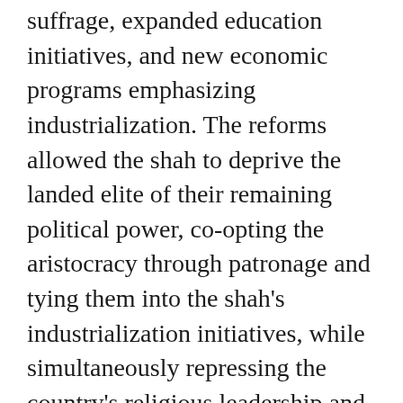suffrage, expanded education initiatives, and new economic programs emphasizing industrialization. The reforms allowed the shah to deprive the landed elite of their remaining political power, co-opting the aristocracy through patronage and tying them into the shah's industrialization initiatives, while simultaneously repressing the country's religious leadership and middle-class nationalists.
In the United States, the shah's program was hailed as a triumph. But doubts remained over the long-term viability of his